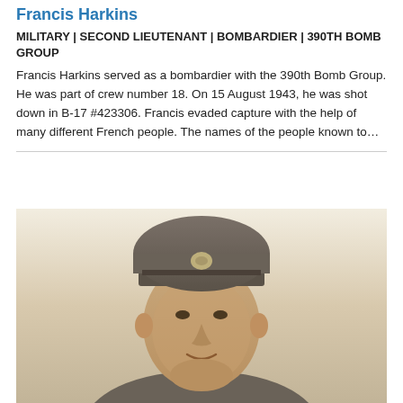Francis Harkins
MILITARY | SECOND LIEUTENANT | BOMBARDIER | 390TH BOMB GROUP
Francis Harkins served as a bombardier with the 390th Bomb Group. He was part of crew number 18. On 15 August 1943, he was shot down in B-17 #423306. Francis evaded capture with the help of many different French people. The names of the people known to…
[Figure (photo): Black and white / sepia photograph of Francis Harkins wearing a military officer's cap with an emblem, looking toward the camera with a slight smile.]